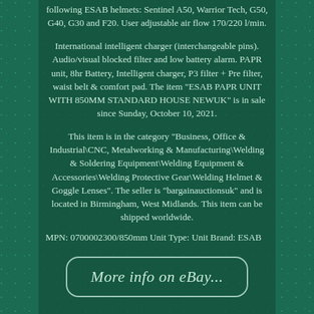following ESAB helmets: Sentinel A50, Warrior Tech, G50, G40, G30 and F20. User adjustable air flow 170/220 l/min.
International intelligent charger (interchangeable pins). Audio/visual blocked filter and low battery alarm. PAPR unit, 8hr Battery, Intelligent charger, P3 filter + Pre filter, waist belt & comfort pad. The item "ESAB PAPR UNIT WITH 850MM STANDARD HOUSE NEWUK" is in sale since Sunday, October 10, 2021.
This item is in the category "Business, Office & Industrial\CNC, Metalworking & Manufacturing\Welding & Soldering Equipment\Welding Equipment & Accessories\Welding Protective Gear\Welding Helmet & Goggle Lenses". The seller is "bargainauctionsuk" and is located in Birmingham, West Midlands. This item can be shipped worldwide.
MPN: 0700002300/850mm Unit Type: Unit Brand: ESAB
[Figure (other): A rounded rectangle button with border reading 'More info on eBay...']